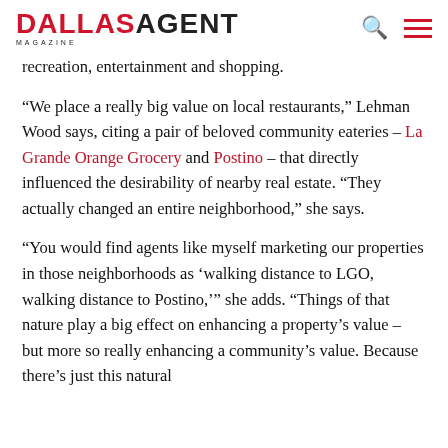DALLAS AGENT MAGAZINE
recreation, entertainment and shopping.
“We place a really big value on local restaurants,” Lehman Wood says, citing a pair of beloved community eateries – La Grande Orange Grocery and Postino – that directly influenced the desirability of nearby real estate. “They actually changed an entire neighborhood,” she says.
“You would find agents like myself marketing our properties in those neighborhoods as ‘walking distance to LGO, walking distance to Postino,’” she adds. “Things of that nature play a big effect on enhancing a property’s value – but more so really enhancing a community’s value. Because there’s just this natural